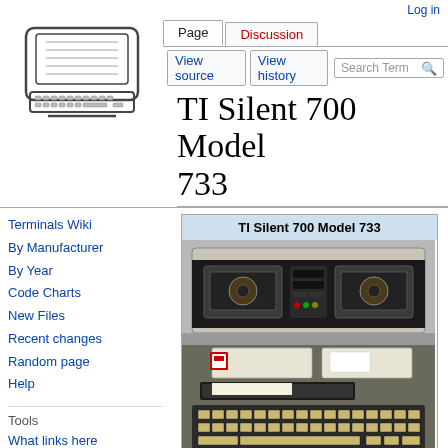Log in
[Figure (illustration): Wikipedia-style logo: line drawing of a vintage computer terminal with keyboard]
Page | Discussion | View source | View history | Search Term
TI Silent 700 Model 733
Terminals Wiki
By Manufacturer
By Year
Code Charts
New Files
Recent changes
Random page
Help
Tools
What links here
Related changes
Special pages
Printable version
[Figure (photo): Photo of a TI Silent 700 Model 733 terminal device, showing the hardware unit with tape drives on top and keyboard below]